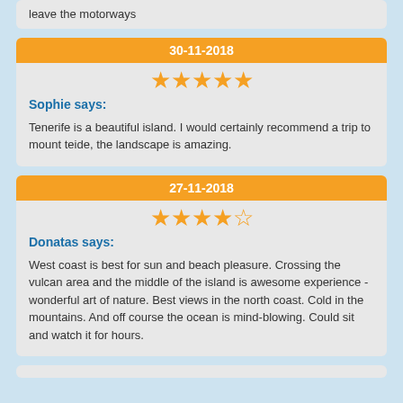leave the motorways
30-11-2018
[Figure (other): 5 filled orange stars rating]
Sophie says:
Tenerife is a beautiful island. I would certainly recommend a trip to mount teide, the landscape is amazing.
27-11-2018
[Figure (other): 4.5 orange stars rating]
Donatas says:
West coast is best for sun and beach pleasure. Crossing the vulcan area and the middle of the island is awesome experience - wonderful art of nature. Best views in the north coast. Cold in the mountains. And off course the ocean is mind-blowing. Could sit and watch it for hours.